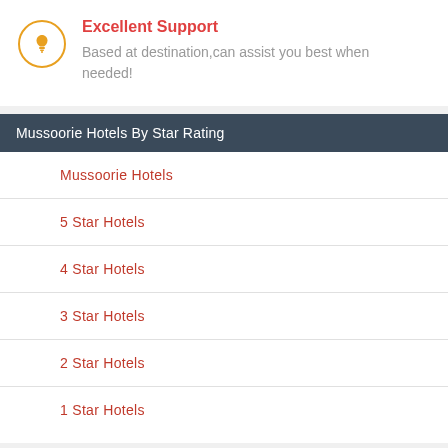Excellent Support
Based at destination,can assist you best when needed!
Mussoorie Hotels By Star Rating
Mussoorie Hotels
5 Star Hotels
4 Star Hotels
3 Star Hotels
2 Star Hotels
1 Star Hotels